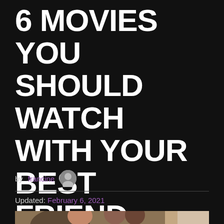6 MOVIES YOU SHOULD WATCH WITH YOUR BEST FRIEND
by francine
Updated: February 6, 2021
[Figure (photo): Two young girls smiling outdoors, one with reddish hair and a bow, one with dark hair, near trees and a building]